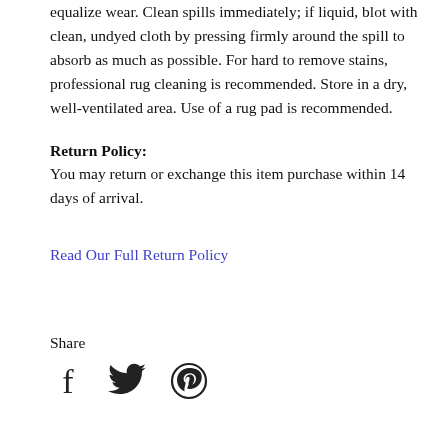equalize wear. Clean spills immediately; if liquid, blot with clean, undyed cloth by pressing firmly around the spill to absorb as much as possible. For hard to remove stains, professional rug cleaning is recommended. Store in a dry, well-ventilated area. Use of a rug pad is recommended.
Return Policy:
You may return or exchange this item purchase within 14 days of arrival.
Read Our Full Return Policy
Share